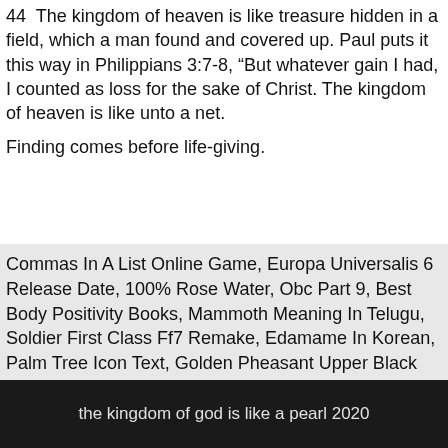44 The kingdom of heaven is like treasure hidden in a field, which a man found and covered up. Paul puts it this way in Philippians 3:7-8, "But whatever gain I had, I counted as loss for the sake of Christ. The kingdom of heaven is like unto a net.
Finding comes before life-giving.
Commas In A List Online Game, Europa Universalis 6 Release Date, 100% Rose Water, Obc Part 9, Best Body Positivity Books, Mammoth Meaning In Telugu, Soldier First Class Ff7 Remake, Edamame In Korean, Palm Tree Icon Text, Golden Pheasant Upper Black Eddy, Philippians 3:13-14 Meaning,
the kingdom of god is like a pearl 2020